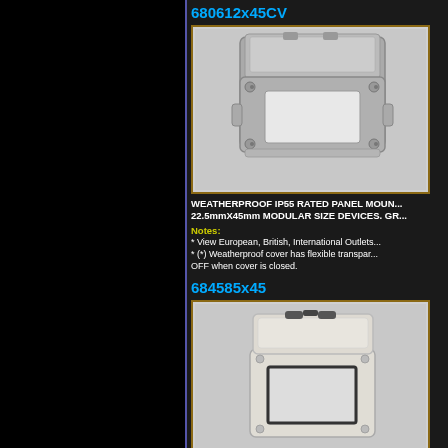680612x45CV
[Figure (photo): Gray weatherproof IP55 rated panel mount enclosure with open hinged transparent lid, showing modular frame interior, screws at corners]
WEATHERPROOF IP55 RATED PANEL MOUN... 22.5mmX45mm MODULAR SIZE DEVICES. GR...
Notes:
* View European, British, International Outlets...
* (*) Weatherproof cover has flexible transpar... OFF when cover is closed.
684585x45
[Figure (photo): White/cream weatherproof IP66 rated wall box with open hinged lid, showing modular frame interior with black gasket]
WEATHERPROOF (IP66 RATED) WALL BOX C...
Notes: